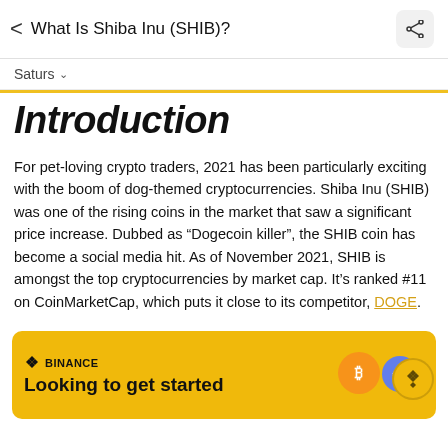What Is Shiba Inu (SHIB)?
Saturs
Introduction
For pet-loving crypto traders, 2021 has been particularly exciting with the boom of dog-themed cryptocurrencies. Shiba Inu (SHIB) was one of the rising coins in the market that saw a significant price increase. Dubbed as "Dogecoin killer", the SHIB coin has become a social media hit. As of November 2021, SHIB is amongst the top cryptocurrencies by market cap. It’s ranked #11 on CoinMarketCap, which puts it close to its competitor, DOGE.
[Figure (other): Binance advertisement banner with yellow background showing 'Looking to get started' headline, Binance logo, and cryptocurrency coin icons (Bitcoin and Ethereum)]